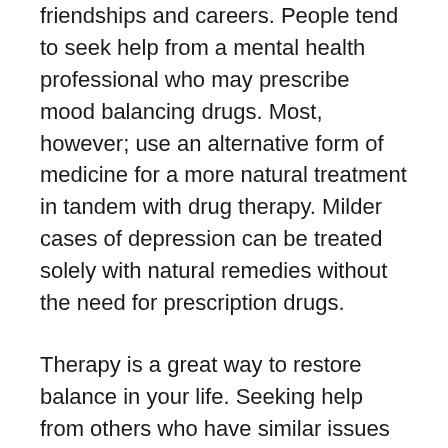friendships and careers. People tend to seek help from a mental health professional who may prescribe mood balancing drugs. Most, however; use an alternative form of medicine for a more natural treatment in tandem with drug therapy. Milder cases of depression can be treated solely with natural remedies without the need for prescription drugs.
Therapy is a great way to restore balance in your life. Seeking help from others who have similar issues will provide a support system to discuss issues, understand symptoms, and develop techniques to feel better. Often talking is very cathartic and can help alleviate stress and loneliness, which may cause feelings of depression.
Therapy that involves personal expression has